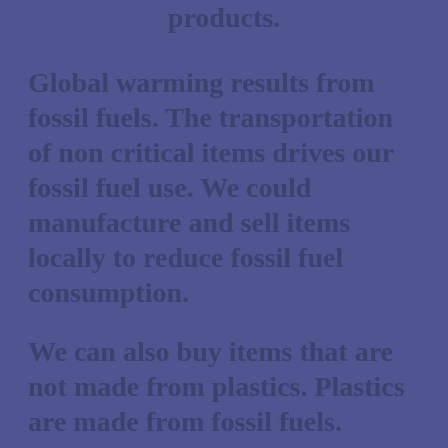products.
Global warming results from fossil fuels. The transportation of non critical items drives our fossil fuel use. We could manufacture and sell items locally to reduce fossil fuel consumption.
We can also buy items that are not made from plastics. Plastics are made from fossil fuels.
By using this website, you agree that we and our partners may set cookies for purposes such as customising content and advertising. OK I Can
The answer is not to close fossil fuel companies. Another company in a fossil